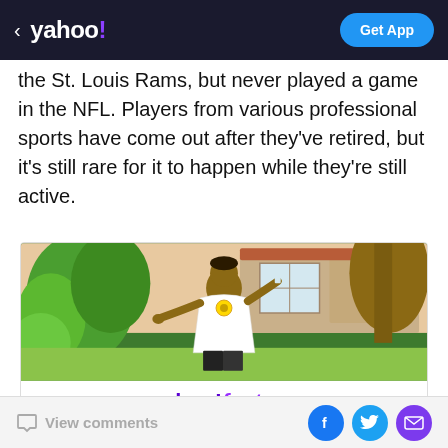< yahoo! | Get App
the St. Louis Rams, but never played a game in the NFL. Players from various professional sports have come out after they've retired, but it's still rare for it to happen while they're still active.
[Figure (infographic): Yahoo! Fantasy advertisement with a man in a white outfit with gold chains, surrounded by tropical plants, with 'yahoo!fantasy' logo and text 'Play fantasy football Get your people on the free and easy fantasy app']
View comments | Facebook | Twitter | Email share icons